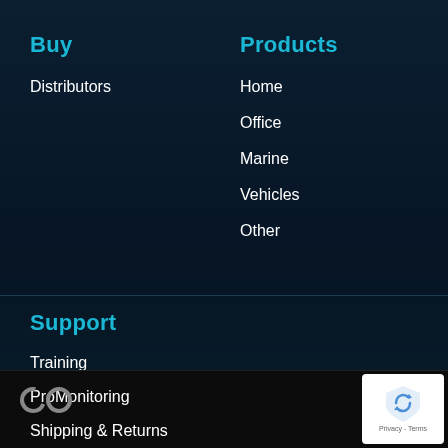Buy
Distributors
Products
Home
Office
Marine
Vehicles
Other
Support
Training
ProMonitoring
Shipping & Returns
[Figure (logo): CO logo icon in white on dark background]
[Figure (other): Google reCAPTCHA badge with shield icon and Privacy - Terms text]